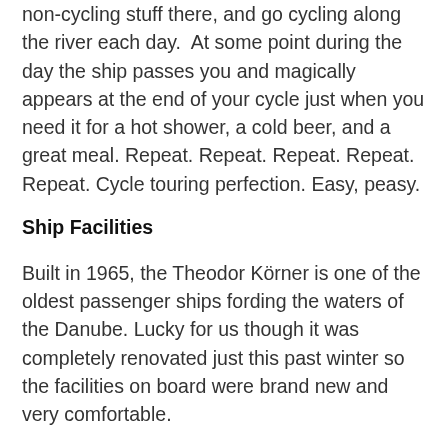non-cycling stuff there, and go cycling along the river each day.  At some point during the day the ship passes you and magically appears at the end of your cycle just when you need it for a hot shower, a cold beer, and a great meal. Repeat. Repeat. Repeat. Repeat. Repeat. Cycle touring perfection. Easy, peasy.
Ship Facilities
Built in 1965, the Theodor Körner is one of the oldest passenger ships fording the waters of the Danube. Lucky for us though it was completely renovated just this past winter so the facilities on board were brand new and very comfortable.
Our twin, side-by-side, berth cabin was more than I expected from a river boat.